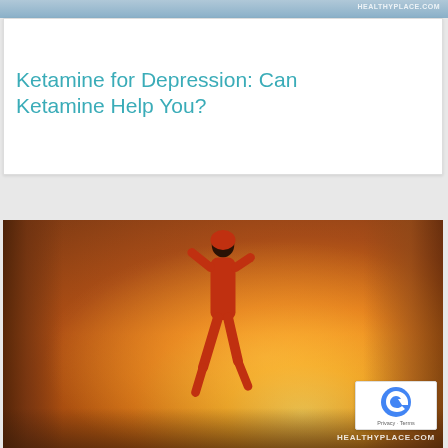[Figure (photo): Top strip image from HealthyPlace.com website header]
Ketamine for Depression: Can Ketamine Help You?
[Figure (photo): Woman in red running outfit jogging on a road in foggy sunrise/sunset conditions with orange golden light behind trees. Watermark: HEALTHYPLACE.COM]